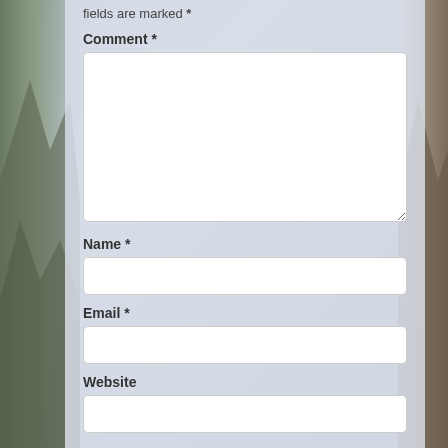fields are marked *
Comment *
[Figure (screenshot): Empty textarea input for comment field with resize handle]
Name *
[Figure (screenshot): Empty single-line text input for name field]
Email *
[Figure (screenshot): Empty single-line text input for email field]
Website
[Figure (screenshot): Empty single-line text input for website field (partially visible)]